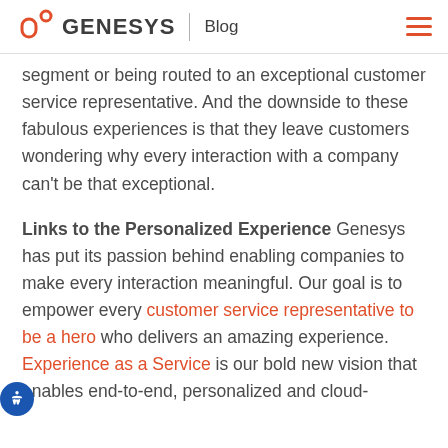GENESYS | Blog
segment or being routed to an exceptional customer service representative. And the downside to these fabulous experiences is that they leave customers wondering why every interaction with a company can't be that exceptional.
Links to the Personalized Experience Genesys has put its passion behind enabling companies to make every interaction meaningful. Our goal is to empower every customer service representative to be a hero who delivers an amazing experience. Experience as a Service is our bold new vision that enables end-to-end, personalized and cloud-